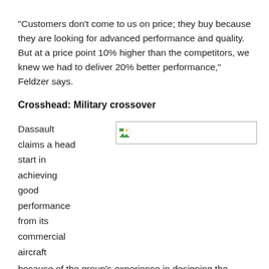“Customers don’t come to us on price; they buy because they are looking for advanced performance and quality. But at a price point 10% higher than the competitors, we knew we had to deliver 20% better performance,” Feldzer says.
Crosshead: Military crossover
Dassault claims a head start in achieving good performance from its commercial aircraft because of the group’s experience in designing the Mirage and Rafale supersonic jet fighters. No other manufacturer, it
[Figure (photo): A broken/missing image placeholder showing a small image icon in the top-left corner with a border box.]